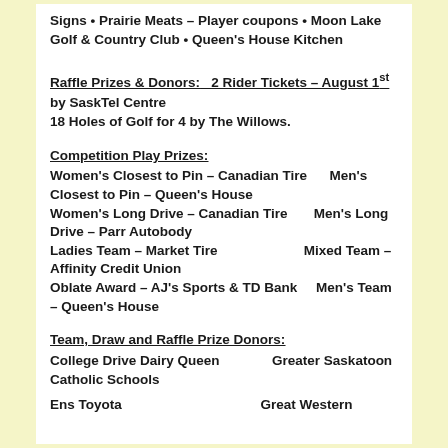Signs • Prairie Meats – Player coupons • Moon Lake Golf & Country Club • Queen's House Kitchen
Raffle Prizes & Donors:
2 Rider Tickets – August 1st by SaskTel Centre
18 Holes of Golf for 4 by The Willows.
Competition Play Prizes:
Women's Closest to Pin – Canadian Tire     Men's Closest to Pin – Queen's House
Women's Long Drive – Canadian Tire     Men's Long Drive – Parr Autobody
Ladies Team – Market Tire                       Mixed Team – Affinity Credit Union
Oblate Award – AJ's Sports & TD Bank     Men's Team – Queen's House
Team, Draw and Raffle Prize Donors:
College Drive Dairy Queen          Greater Saskatoon Catholic Schools
Ens Toyota                                   Great Western